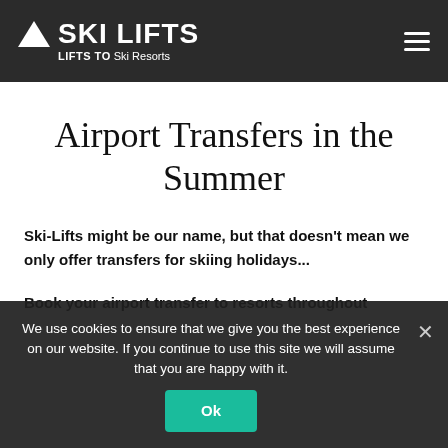SKI LIFTS — LIFTS TO Ski Resorts
Airport Transfers in the Summer
Ski-Lifts might be our name, but that doesn't mean we only offer transfers for skiing holidays...
Book your airport transfer to resorts throughout ... that. We provide you with access to all the destinations on our quote generator, with transfers to suit all budgets – in the peak summer months, we offer shared transfers to
We use cookies to ensure that we give you the best experience on our website. If you continue to use this site we will assume that you are happy with it.